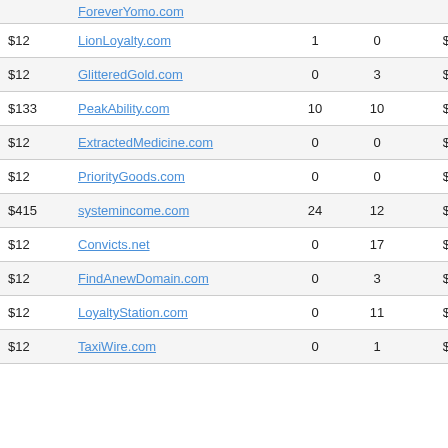| Price | Domain | Col3 | Col4 | Value |
| --- | --- | --- | --- | --- |
|  | ForeverYomo.com |  |  |  |
| $12 | LionLoyalty.com | 1 | 0 | $1453 |
| $12 | GlitteredGold.com | 0 | 3 | $1420 |
| $133 | PeakAbility.com | 10 | 10 | $1482 |
| $12 | ExtractedMedicine.com | 0 | 0 | $1558 |
| $12 | PriorityGoods.com | 0 | 0 | $1698 |
| $415 | systemincome.com | 24 | 12 | $1735 |
| $12 | Convicts.net | 0 | 17 | $1313 |
| $12 | FindAnewDomain.com | 0 | 3 | $1383 |
| $12 | LoyaltyStation.com | 0 | 11 | $1459 |
| $12 | TaxiWire.com | 0 | 1 | $1608 |